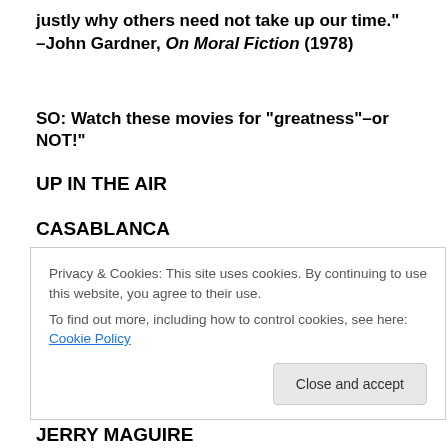justly why others need not take up our time." –John Gardner, On Moral Fiction (1978)
SO: Watch these movies for “greatness”–or NOT!"
UP IN THE AIR
CASABLANCA
PS, I LOVE YOU
Privacy & Cookies: This site uses cookies. By continuing to use this website, you agree to their use.
To find out more, including how to control cookies, see here: Cookie Policy
JERRY MAGUIRE